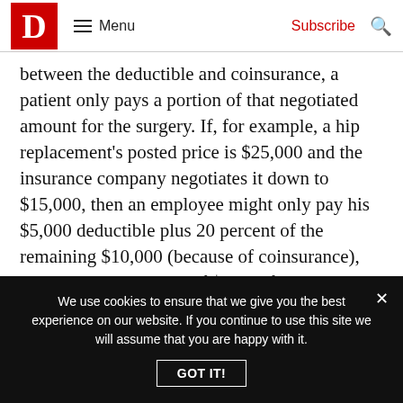D | Menu | Subscribe | Search
between the deductible and coinsurance, a patient only pays a portion of that negotiated amount for the surgery. If, for example, a hip replacement's posted price is $25,000 and the insurance company negotiates it down to $15,000, then an employee might only pay his $5,000 deductible plus 20 percent of the remaining $10,000 (because of coinsurance), resulting in a total bill of $7,000 for the patient. If the employer is self-insured, then its funds cover the rest of the surgery, or $8,000 in this case.
We use cookies to ensure that we give you the best experience on our website. If you continue to use this site we will assume that you are happy with it.
GOT IT!